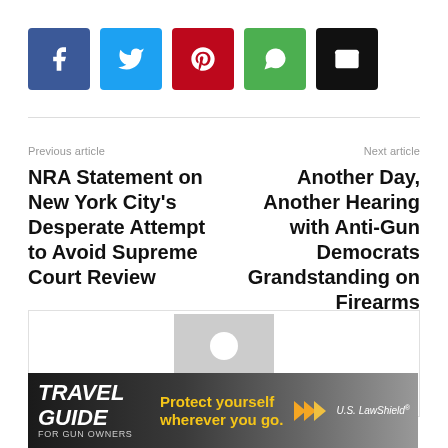[Figure (infographic): Row of five social sharing buttons: Facebook (blue), Twitter (cyan), Pinterest (red), WhatsApp (green), Email (black)]
Previous article
Next article
NRA Statement on New York City's Desperate Attempt to Avoid Supreme Court Review
Another Day, Another Hearing with Anti-Gun Democrats Grandstanding on Firearms
[Figure (photo): Generic user avatar placeholder image — gray square with white silhouette of a person]
[Figure (infographic): US LawShield Travel Guide for Gun Owners advertisement banner: dark background, bold text 'TRAVEL GUIDE FOR GUN OWNERS', tagline 'Protect yourself wherever you go.' with orange arrow graphics and US LawShield logo]